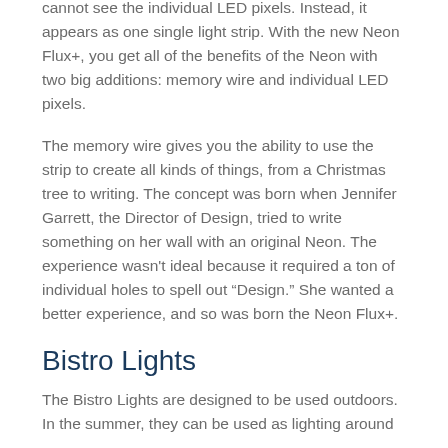cannot see the individual LED pixels. Instead, it appears as one single light strip. With the new Neon Flux+, you get all of the benefits of the Neon with two big additions: memory wire and individual LED pixels.
The memory wire gives you the ability to use the strip to create all kinds of things, from a Christmas tree to writing. The concept was born when Jennifer Garrett, the Director of Design, tried to write something on her wall with an original Neon. The experience wasn't ideal because it required a ton of individual holes to spell out “Design.” She wanted a better experience, and so was born the Neon Flux+.
Bistro Lights
The Bistro Lights are designed to be used outdoors. In the summer, they can be used as lighting around